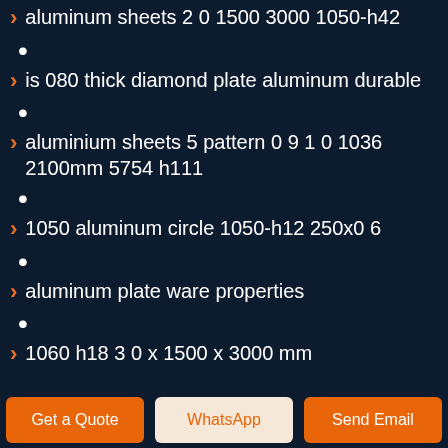aluminum sheets 2 0 1500 3000 1050-h42
is 080 thick diamond plate aluminum durable
aluminium sheets 5 pattern 0 9 1 0 1036 2100mm 5754 h111
1050 aluminum circle 1050-h12 250x0 6
aluminum plate ware properties
1060 h18 3 0 x 1500 x 3000 mm
Get a Quote | WhatsApp | Send Email